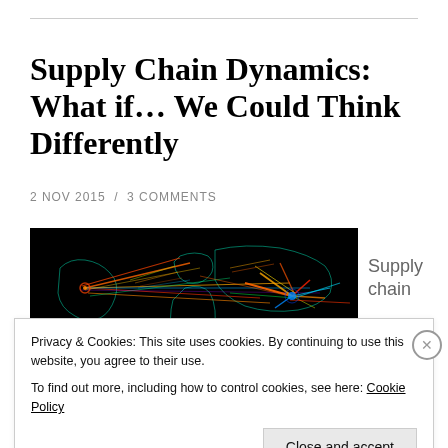Supply Chain Dynamics: What if... We Could Think Differently
2 NOV 2015 / 3 COMMENTS
[Figure (photo): Dark world map with colorful streaking lines representing global supply chain network routes]
Supply chain
Privacy & Cookies: This site uses cookies. By continuing to use this website, you agree to their use.
To find out more, including how to control cookies, see here: Cookie Policy